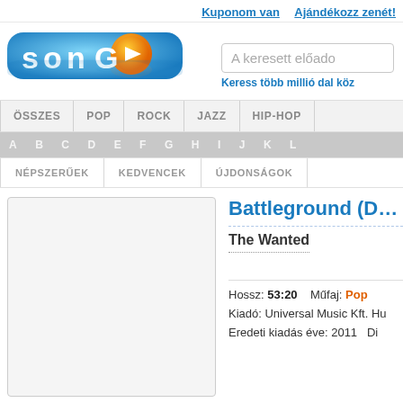Kuponom van   Ajándékozz zenét!
[Figure (logo): Songo music streaming service logo — colorful text 'sonGO' with a blue play button circle on orange background, with reflection below]
A keresett előado
Keress több millió dal köz
ÖSSZES   POP   ROCK   JAZZ   HIP-HOP
A  B  C  D  E  F  G  H  I  J  K  L
NÉPSZERŰEK   KEDVENCEK   ÚJDONSÁGOK
Battleground (D…
The Wanted
Hossz: 53:20   Műfaj: Pop
Kiadó: Universal Music Kft. Hu
Eredeti kiadás éve: 2011   Di